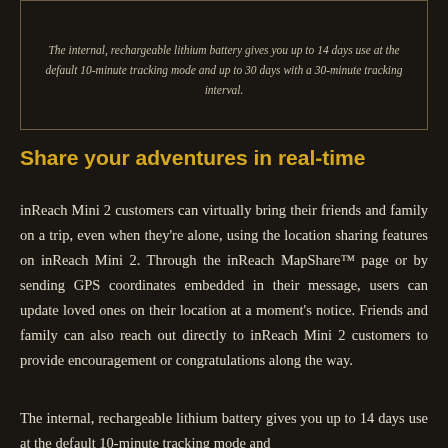[Figure (photo): Top portion of a photo showing outdoor/nature scene, cropped at the top of the page]
The internal, rechargeable lithium battery gives you up to 14 days use at the default 10-minute tracking mode and up to 30 days with a 30-minute tracking interval.
Share your adventures in real-time
inReach Mini 2 customers can virtually bring their friends and family on a trip, even when they're alone, using the location sharing features on inReach Mini 2. Through the inReach MapShare™ page or by sending GPS coordinates embedded in their message, users can update loved ones on their location at a moment's notice. Friends and family can also reach out directly to inReach Mini 2 customers to provide encouragement or congratulations along the way.
The internal, rechargeable lithium battery gives you up to 14 days use at the default 10-minute tracking mode and